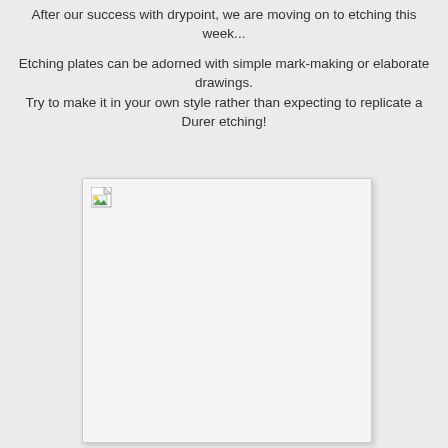After our success with drypoint, we are moving on to etching this week...
Etching plates can be adorned with simple mark-making or elaborate drawings. Try to make it in your own style rather than expecting to replicate a Durer etching!
[Figure (photo): A broken/missing image placeholder with a white rectangular area and a small broken image icon in the top-left corner, inside a light-bordered box with drop shadow.]